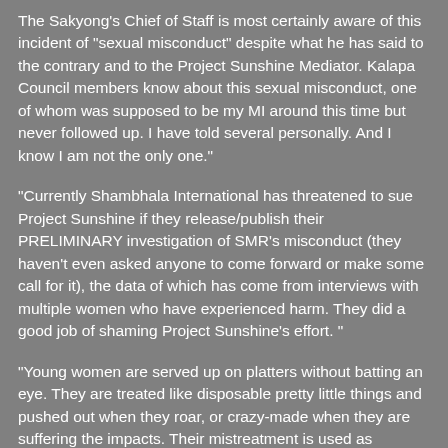The Sakyong's Chief of Staff is most certainly aware of this incident of "sexual misconduct" despite what he has said to the contrary and to the Project Sunshine Mediator. Kalapa Council members know about this sexual misconduct, one of whom was supposed to be my MI around this time but never followed up. I have told several personally. And I know I am not the only one."
"Currently Shambhala International has threatened to sue Project Sunshine if they release/publish their PRELIMINARY investigation of SMR's misconduct (they haven't even asked anyone to come forward or make some call for it), the data of which has come from interviews with multiple women who have experienced harm. They did a good job of shaming Project Sunshine's effort. "
"Young women are served up on platters without batting an eye. They are treated like disposable pretty little things and pushed out when they roar, or crazy-made when they are suffering the impacts. Their mistreatment is used as material in punch lines by the court comedian who represents them as nobodies lined up for their service to men at court